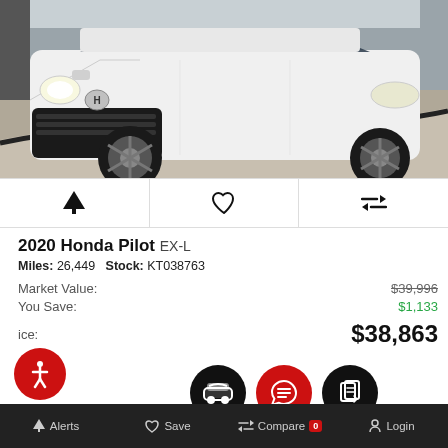[Figure (photo): White Honda Pilot SUV photographed from front-right angle in a parking lot with concrete curb visible]
🔔  ♥  ⇄
2020 Honda Pilot EX-L
Miles: 26,449   Stock: KT038763
Market Value:  $39,996
You Save:  $1,133
Price:  $38,863
Alerts  Save  Compare 0  Login